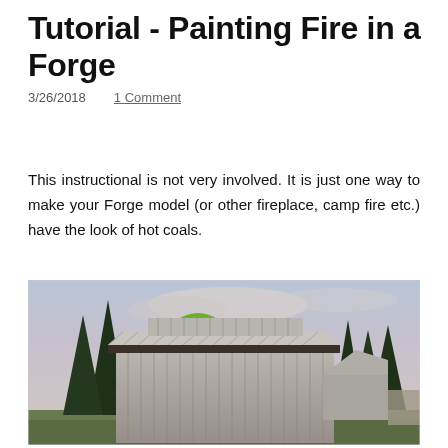Tutorial - Painting Fire in a Forge
3/26/2018    1 Comment
This instructional is not very involved. It is just one way to make your Forge model (or other fireplace, camp fire etc.) have the look of hot coals.
[Figure (photo): A painted miniature model of a forge building with a wooden plank roof, set among model trees (dark evergreens and a light green deciduous tree), with a cloudy sky backdrop. Another smaller building and fence visible in the background.]